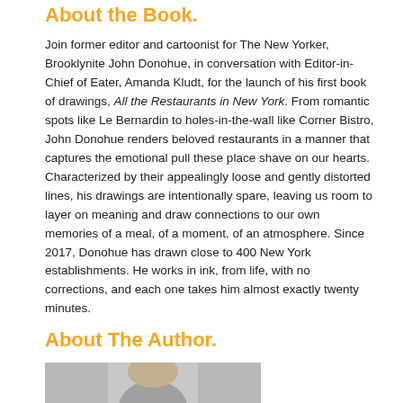About the Book.
Join former editor and cartoonist for The New Yorker, Brooklynite John Donohue, in conversation with Editor-in-Chief of Eater, Amanda Kludt, for the launch of his first book of drawings, All the Restaurants in New York. From romantic spots like Le Bernardin to holes-in-the-wall like Corner Bistro, John Donohue renders beloved restaurants in a manner that captures the emotional pull these place shave on our hearts. Characterized by their appealingly loose and gently distorted lines, his drawings are intentionally spare, leaving us room to layer on meaning and draw connections to our own memories of a meal, of a moment, of an atmosphere. Since 2017, Donohue has drawn close to 400 New York establishments. He works in ink, from life, with no corrections, and each one takes him almost exactly twenty minutes.
About The Author.
[Figure (photo): Author photo showing top of head/hair of a person, partially cropped at bottom of page]